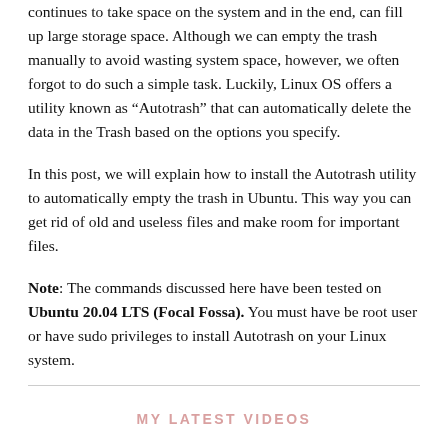continues to take space on the system and in the end, can fill up large storage space. Although we can empty the trash manually to avoid wasting system space, however, we often forgot to do such a simple task. Luckily, Linux OS offers a utility known as “Autotrash” that can automatically delete the data in the Trash based on the options you specify.
In this post, we will explain how to install the Autotrash utility to automatically empty the trash in Ubuntu. This way you can get rid of old and useless files and make room for important files.
Note: The commands discussed here have been tested on Ubuntu 20.04 LTS (Focal Fossa). You must have be root user or have sudo privileges to install Autotrash on your Linux system.
MY LATEST VIDEOS